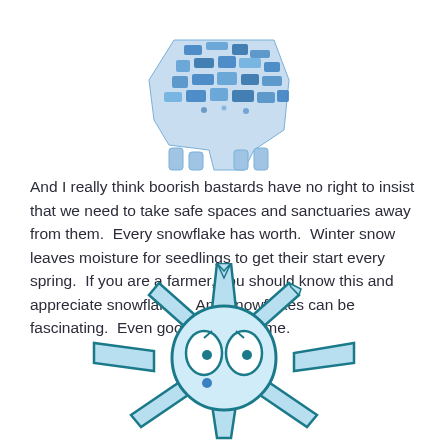[Figure (illustration): A decorative illustration of a dog or animal figure made of blue mosaic/stained-glass style geometric pieces, partially cropped at top of page]
And I really think boorish bastards have no right to insist that we need to take safe spaces and sanctuaries away from them.  Every snowflake has worth.  Winter snow leaves moisture for seedlings to get their start every spring.  If you are a farmer, you should know this and appreciate snowflakes.  And snowflakes can be fascinating.  Even goofy ones like me.
[Figure (illustration): A cartoon snowflake character with a round face featuring two large eyes and a small blue dot, surrounded by pointed snowflake arms, drawn in light blue with teal outlines, partially cropped at the bottom of the page]